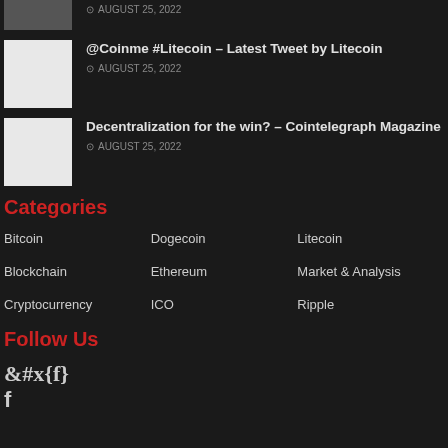AUGUST 25, 2022
@Coinme #Litecoin – Latest Tweet by Litecoin
AUGUST 25, 2022
Decentralization for the win? – Cointelegraph Magazine
AUGUST 25, 2022
Categories
Bitcoin
Dogecoin
Litecoin
Blockchain
Ethereum
Market & Analysis
Cryptocurrency
ICO
Ripple
Follow Us